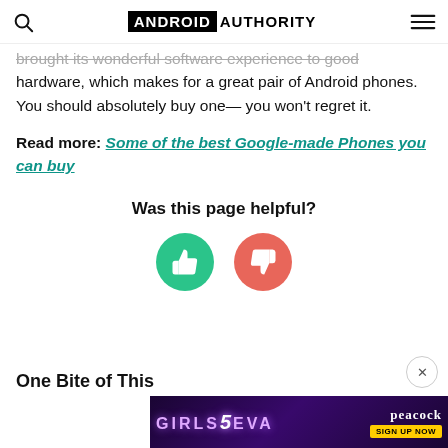ANDROID AUTHORITY
brought its wonderful software experience to good hardware, which makes for a great pair of Android phones. You should absolutely buy one— you won't regret it.
Read more: Some of the best Google-made Phones you can buy
Was this page helpful?
[Figure (infographic): Two circular buttons: a green thumbs-up button and a red/coral thumbs-down button for page feedback]
One Bite of This
[Figure (infographic): Advertisement banner for Girls5Eva on Peacock streaming service with purple/dark background and 'SIGN UP NOW' button]